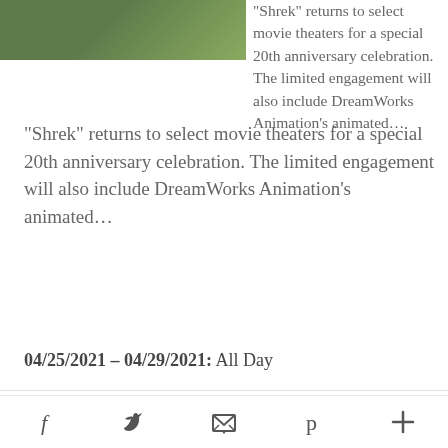[Figure (photo): Top portion of an image showing green background, partially visible at top of page]
“Shrek” returns to select movie theaters for a special 20th anniversary celebration. The limited engagement will also include DreamWorks Animation’s animated…
04/25/2021 – 04/29/2021: All Day
[Figure (photo): A person appearing to dance or jump against a beige/tan wall background with line art]
Two of Los Angeles’ foremost cultural organizations—
f  ✓  ✉  p  +